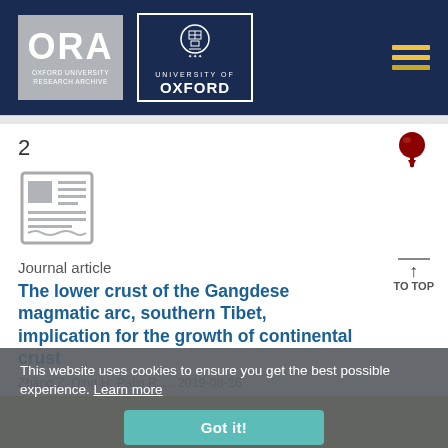[Figure (logo): ORA Oxford University Research Archive logo (grey background, white text) and University of Oxford crest logo (white border, navy background) with hamburger menu icon on right]
2
[Figure (illustration): Document/journal article icon in grey]
Journal article
The lower crust of the Gangdese magmatic arc, southern Tibet, implication for the growth of continental crust
Zhang Z; Ding H; Palin R; ... 2019-08-26
This website uses cookies to ensure you get the best possible experience. Learn more
Got it!
FILTER RESULTS